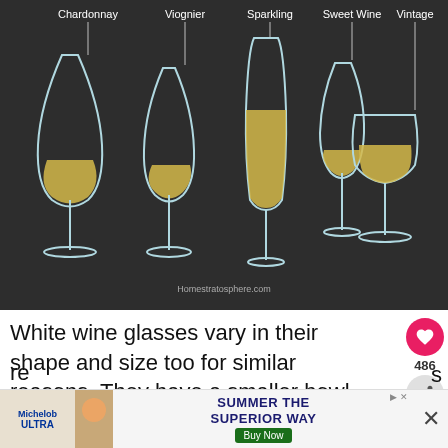[Figure (infographic): Dark background infographic showing 5 types of white wine glasses labeled: Chardonnay, Viognier, Sparkling, Sweet Wine, Vintage. Each glass is illustrated in light blue/white outline with golden wine fill. Labels connected to glasses with lines. Homestratasphere.com watermark at bottom.]
White wine glasses vary in their shape and size too for similar reasons. They have a smaller bowl than a red wine glass because of their varying styles and temperature re...s
[Figure (infographic): Advertisement banner: Michelob ULTRA Summer The Superior Way Buy Now ad with food image. Partially overlaid by X close button.]